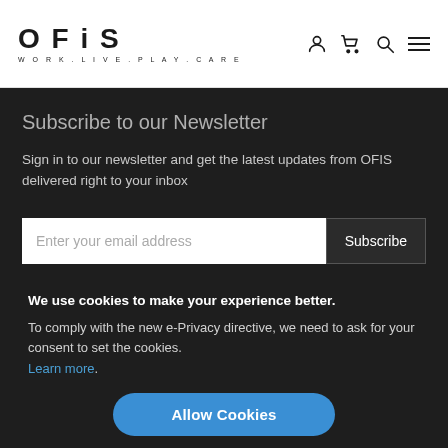[Figure (logo): OFIS logo with tagline WORK.LIVE.PLAY.CARE and navigation icons (user, cart, search, menu)]
Subscribe to our Newsletter
Sign in to our newsletter and get the latest updates from OFIS delivered right to your inbox
Enter your email address [Subscribe button]
We use cookies to make your experience better. To comply with the new e-Privacy directive, we need to ask for your consent to set the cookies. Learn more.
Allow Cookies